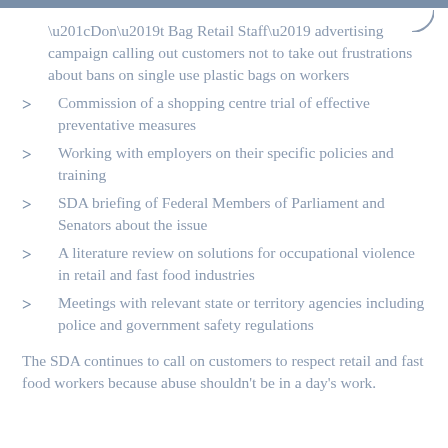“Don’t Bag Retail Staff’ advertising campaign calling out customers not to take out frustrations about bans on single use plastic bags on workers
Commission of a shopping centre trial of effective preventative measures
Working with employers on their specific policies and training
SDA briefing of Federal Members of Parliament and Senators about the issue
A literature review on solutions for occupational violence in retail and fast food industries
Meetings with relevant state or territory agencies including police and government safety regulations
The SDA continues to call on customers to respect retail and fast food workers because abuse shouldn’t be in a day’s work.